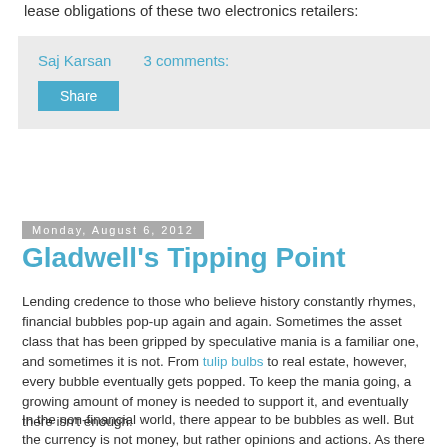lease obligations of these two electronics retailers:
Saj Karsan    3 comments:
Share
Monday, August 6, 2012
Gladwell's Tipping Point
Lending credence to those who believe history constantly rhymes, financial bubbles pop-up again and again. Sometimes the asset class that has been gripped by speculative mania is a familiar one, and sometimes it is not. From tulip bulbs to real estate, however, every bubble eventually gets popped. To keep the mania going, a growing amount of money is needed to support it, and eventually there isn't enough.
In the non-financial world, there appear to be bubbles as well. But the currency is not money, but rather opinions and actions. As there are no shortage of those, such bubbles can